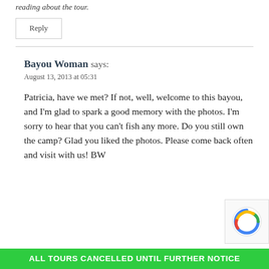reading about the tour.
Reply
Bayou Woman says:
August 13, 2013 at 05:31
Patricia, have we met? If not, well, welcome to this bayou, and I'm glad to spark a good memory with the photos. I'm sorry to hear that you can't fish any more. Do you still own the camp? Glad you liked the photos. Please come back often and visit with us! BW
ALL TOURS CANCELLED UNTIL FURTHER NOTICE